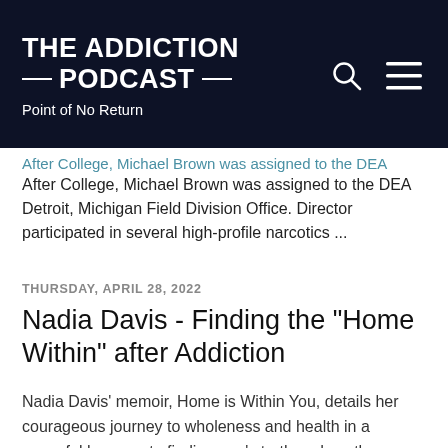THE ADDICTION PODCAST — Point of No Return
After College, Michael Brown was assigned to the DEA Detroit, Michigan Field Division Office. Director participated in several high-profile narcotics ...
THURSDAY, APRIL 28, 2022
Nadia Davis - Finding the "Home Within" after Addiction
Nadia Davis' memoir, Home is Within You, details her courageous journey to wholeness and health in a powerful homage to finding one's truth and worth....